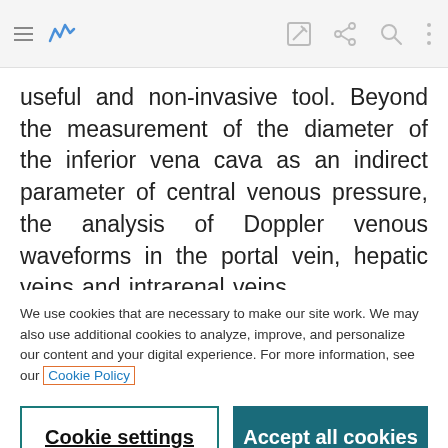Toolbar with hamburger menu, analytics icon, edit icon, share icon, search icon, more options icon
useful and non-invasive tool. Beyond the measurement of the diameter of the inferior vena cava as an indirect parameter of central venous pressure, the analysis of Doppler venous waveforms in the portal vein, hepatic veins and intrarenal veins provides additional information on the distensibility
We use cookies that are necessary to make our site work. We may also use additional cookies to analyze, improve, and personalize our content and your digital experience. For more information, see our Cookie Policy
Cookie settings
Accept all cookies